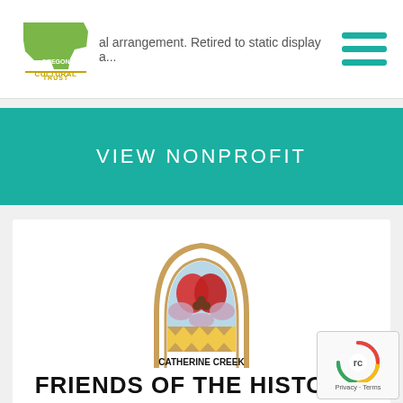[Figure (logo): Oregon Cultural Trust logo - green state outline with CULTURAL TRUST text in yellow/gold below]
...al arrangement. Retired to static display a...
[Figure (illustration): Hamburger menu icon with three teal horizontal bars]
VIEW NONPROFIT
[Figure (logo): Catherine Creek Community Center stained glass window logo with arch design and text]
FRIENDS OF THE HISTORIC